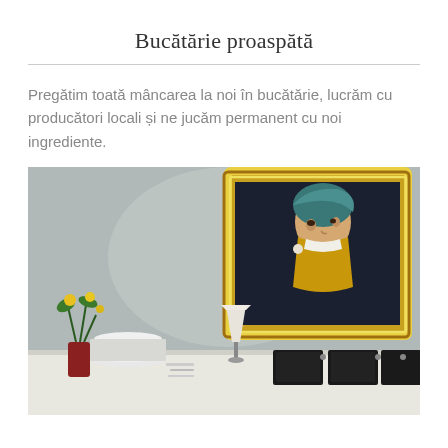Bucătărie proaspătă
Pregătim toată mâncarea la noi în bucătărie, lucrăm cu producători locali și ne jucăm permanent cu noi ingrediente.
[Figure (photo): Restaurant interior with a decorative golden-framed painting of 'Girl with a Pearl Earring' on a grey wall above a white table set with stacked plates, a small lamp, potted plants with yellow flowers, and black menu folders.]